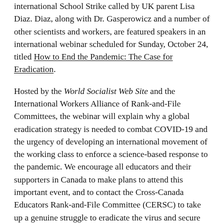international School Strike called by UK parent Lisa Diaz. Diaz, along with Dr. Gasperowicz and a number of other scientists and workers, are featured speakers in an international webinar scheduled for Sunday, October 24, titled How to End the Pandemic: The Case for Eradication.
Hosted by the World Socialist Web Site and the International Workers Alliance of Rank-and-File Committees, the webinar will explain why a global eradication strategy is needed to combat COVID-19 and the urgency of developing an international movement of the working class to enforce a science-based response to the pandemic. We encourage all educators and their supporters in Canada to make plans to attend this important event, and to contact the Cross-Canada Educators Rank-and-File Committee (CERSC) to take up a genuine struggle to eradicate the virus and secure safe working conditions for all. The CERSC can be reached at: cersc.csppb@gmail.com.